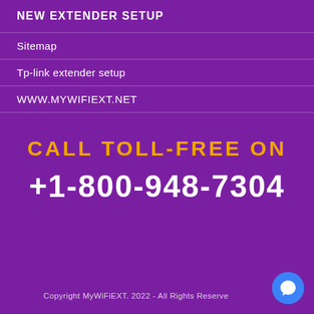NEW EXTENDER SETUP
Sitemap
Tp-link extender setup
WWW.MYWIFIEXT.NET
CALL TOLL-FREE ON
+1-800-948-7304
Copyright MyWiFiEXT. 2022 - All Rights Reserve